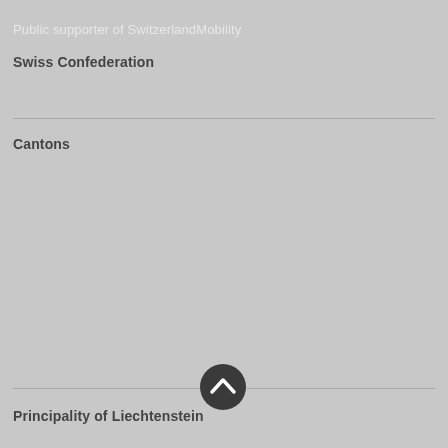Public supporter of SwitzerlandMobility
Swiss Confederation
Cantons
[Figure (other): Circular scroll-to-top button with upward chevron arrow icon, dark grey circle with white chevron]
Principality of Liechtenstein